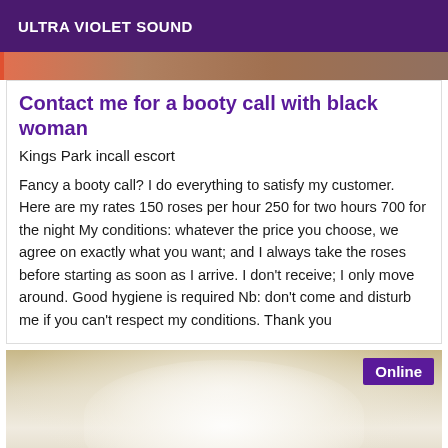ULTRA VIOLET SOUND
[Figure (photo): Top portion of a person, background image strip]
Contact me for a booty call with black woman
Kings Park incall escort
Fancy a booty call? I do everything to satisfy my customer. Here are my rates 150 roses per hour 250 for two hours 700 for the night My conditions: whatever the price you choose, we agree on exactly what you want; and I always take the roses before starting as soon as I arrive. I don't receive; I only move around. Good hygiene is required Nb: don't come and disturb me if you can't respect my conditions. Thank you
[Figure (photo): Photo of person in white bra/lingerie top with Online badge overlay]